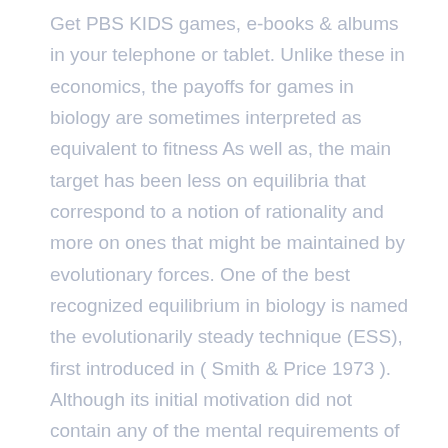Get PBS KIDS games, e-books & albums in your telephone or tablet. Unlike these in economics, the payoffs for games in biology are sometimes interpreted as equivalent to fitness As well as, the main target has been less on equilibria that correspond to a notion of rationality and more on ones that might be maintained by evolutionary forces. One of the best recognized equilibrium in biology is named the evolutionarily steady technique (ESS), first introduced in ( Smith & Price 1973 ). Although its initial motivation did not contain any of the mental requirements of the Nash equilibrium , each ESS is a Nash equilibrium.
• Built-in Google games: Play PAC-MAN, Solitaire, Snake, and Cricket — even when offline. These stress relief games is extraordinarily good at getting people out of their shells and begin speaking. Good communication assists with group efficiency and without it the group